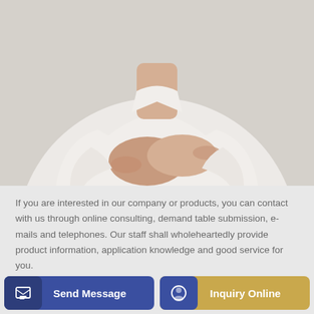[Figure (photo): A person in a white shirt with arms crossed, cropped to show torso and hands only, blurred/soft focus style, light grey background.]
If you are interested in our company or products, you can contact with us through online consulting, demand table submission, e-mails and telephones. Our staff shall wholeheartedly provide product information, application knowledge and good service for you.
0086-371-60922096
sales@talenets.com
Send Message
Inquiry Online